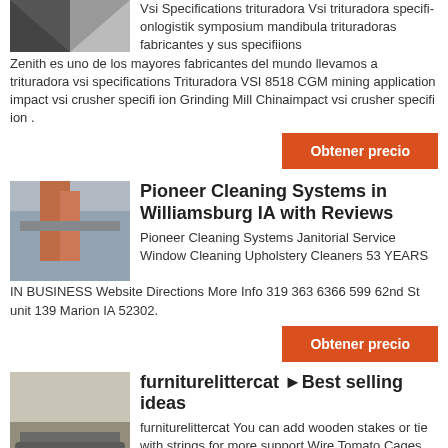Vsi Specifications trituradora Vsi trituradora specificationlogistik symposium mandibula trituradoras fabricantes y sus specifiionsZenith es uno de los mayores fabricantes del mundo llevamos a trituradora vsi specifications Trituradora VSI 8518 CGM mining application impact vsi crusher specifi ion Grinding Mill Chinaimpact vsi crusher specifi ion .
Obtener precio
Pioneer Cleaning Systems in Williamsburg IA with Reviews
Pioneer Cleaning Systems Janitorial Service Window Cleaning Upholstery Cleaners 53 YEARS IN BUSINESS Website Directions More Info 319 363 6366 599 62nd St unit 139 Marion IA 52302.
Obtener precio
furniturelittercat ►Best selling ideas
furniturelittercat You can add wooden stakes or tie with strings for more support Wire Tomato Cages